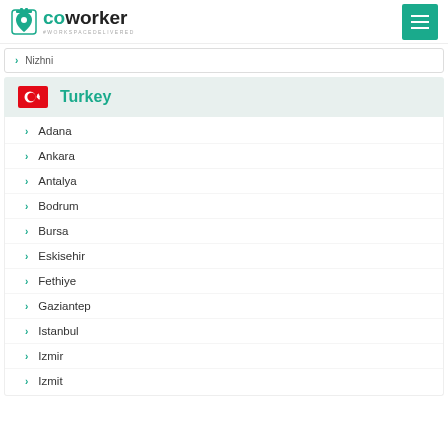coworker #WORKSPACEDELIVERED
Nizhni
Turkey
Adana
Ankara
Antalya
Bodrum
Bursa
Eskisehir
Fethiye
Gaziantep
Istanbul
Izmir
Izmit